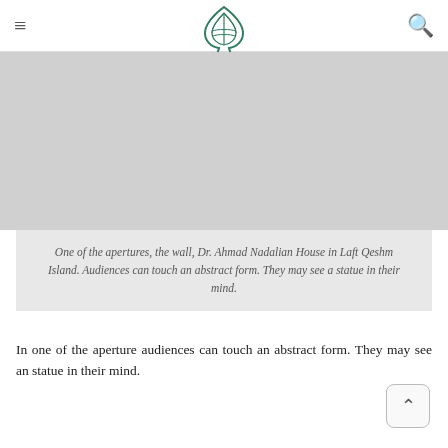≡  [logo]  🔍
[Figure (photo): A large image placeholder (gray area) showing an aperture in a wall, Dr. Ahmad Nadalian House in Laft Qeshm Island.]
One of the apertures, the wall, Dr. Ahmad Nadalian House in Laft Qeshm Island. Audiences can touch an abstract form. They may see a statue in their mind.
In one of the aperture audiences can touch an abstract form. They may see an statue in their mind.